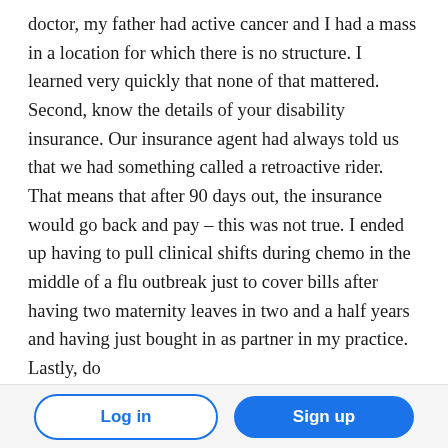doctor, my father had active cancer and I had a mass in a location for which there is no structure. I learned very quickly that none of that mattered. Second, know the details of your disability insurance. Our insurance agent had always told us that we had something called a retroactive rider. That means that after 90 days out, the insurance would go back and pay – this was not true. I ended up having to pull clinical shifts during chemo in the middle of a flu outbreak just to cover bills after having two maternity leaves in two and a half years and having just bought in as partner in my practice. Lastly, do
Log in | Sign up